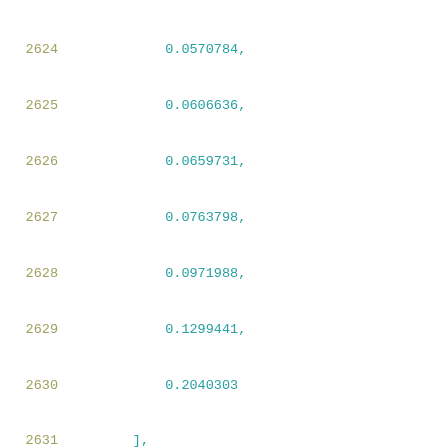2624    0.0570784,
2625    0.0606636,
2626    0.0659731,
2627    0.0763798,
2628    0.0971988,
2629    0.1299441,
2630    0.2040303
2631  ],
2632  [
2633    0.0962266,
2634    0.100612,
2635    0.1105794,
2636    0.1281594,
2637    0.1569971,
2638    0.2055068,
2639    0.2876937
2640  ],
2641  [
2642    0.1677132,
2643    0.1752281,
2644    0.1891471,
2645    0.2153161,